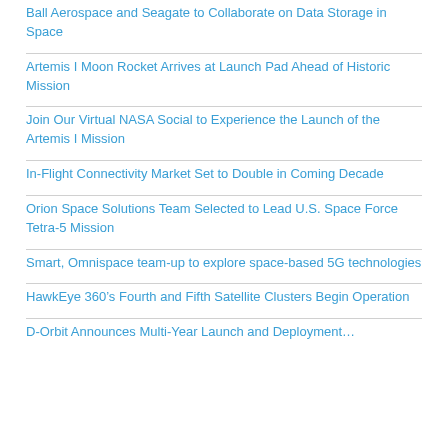Ball Aerospace and Seagate to Collaborate on Data Storage in Space
Artemis I Moon Rocket Arrives at Launch Pad Ahead of Historic Mission
Join Our Virtual NASA Social to Experience the Launch of the Artemis I Mission
In-Flight Connectivity Market Set to Double in Coming Decade
Orion Space Solutions Team Selected to Lead U.S. Space Force Tetra-5 Mission
Smart, Omnispace team-up to explore space-based 5G technologies
HawkEye 360’s Fourth and Fifth Satellite Clusters Begin Operation
D-Orbit Announces Multi-Year Launch and Deployment…